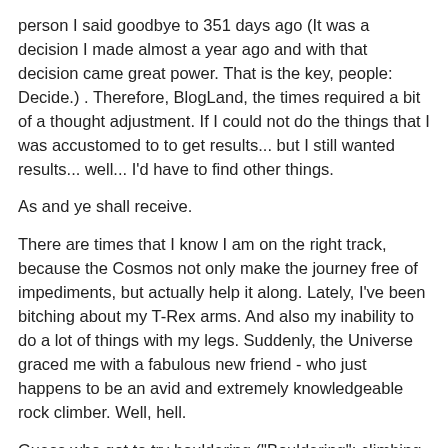person I said goodbye to 351 days ago (It was a decision I made almost a year ago and with that decision came great power. That is the key, people: Decide.) . Therefore, BlogLand, the times required a bit of a thought adjustment. If I could not do the things that I was accustomed to to get results... but I still wanted results... well... I'd have to find other things.
As and ye shall receive.
There are times that I know I am on the right track, because the Cosmos not only make the journey free of impediments, but actually help it along. Lately, I've been bitching about my T-Rex arms. And also my inability to do a lot of things with my legs. Suddenly, the Universe graced me with a fabulous new friend - who just happens to be an avid and extremely knowledgeable rock climber. Well, hell.
Guess who got to try bouldering ("Bouldering": climbing outside on challenges ...boulders... that don't require ropes.)??????